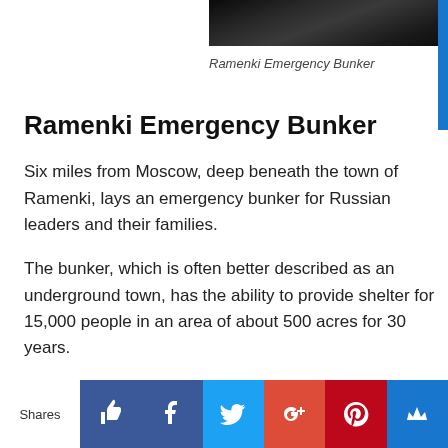[Figure (photo): Dark photograph strip showing the Ramenki Emergency Bunker]
Ramenki Emergency Bunker
Ramenki Emergency Bunker
Six miles from Moscow, deep beneath the town of Ramenki, lays an emergency bunker for Russian leaders and their families.
The bunker, which is often better described as an underground town, has the ability to provide shelter for 15,000 people in an area of about 500 acres for 30 years.
It is rumored that it is connected to the Metro-2, a secret underground rail system built by Joseph Stalin that connects the underground city to the Kremlin and the government
[Figure (infographic): Social sharing bar with icons for Likes, Facebook, Twitter, Google+, Pinterest, and a crown/bookmark button]